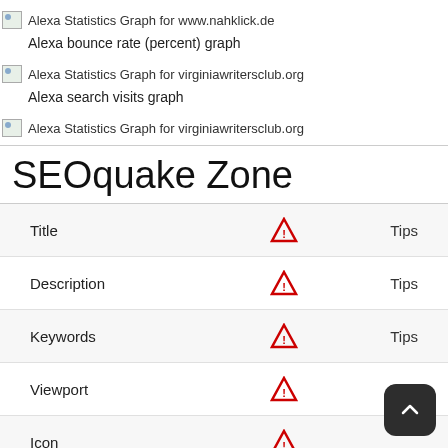[Figure (screenshot): Broken image placeholder labeled: Alexa Statistics Graph for www.nahklick.de]
Alexa bounce rate (percent) graph
[Figure (screenshot): Broken image placeholder labeled: Alexa Statistics Graph for virginiawritersclub.org]
Alexa search visits graph
[Figure (screenshot): Broken image placeholder labeled: Alexa Statistics Graph for virginiawritersclub.org]
SEOquake Zone
|  |  |  |
| --- | --- | --- |
| Title | ⚠ | Tips |
| Description | ⚠ | Tips |
| Keywords | ⚠ | Tips |
| Viewport | ⚠ | Tips |
| Icon | ⚠ |  |